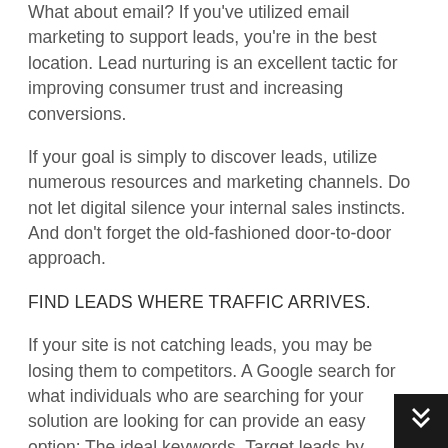What about email? If you've utilized email marketing to support leads, you're in the best location. Lead nurturing is an excellent tactic for improving consumer trust and increasing conversions.
If your goal is simply to discover leads, utilize numerous resources and marketing channels. Do not let digital silence your internal sales instincts. And don't forget the old-fashioned door-to-door approach.
FIND LEADS WHERE TRAFFIC ARRIVES.
If your site is not catching leads, you may be losing them to competitors. A Google search for what individuals who are searching for your solution are looking for can provide an easy option: The ideal keywords. Target leads by means of search engine results and pays for targeted SEOs.